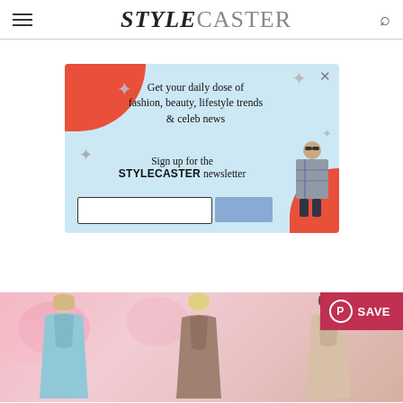STYLECASTER
10 Wardrobe Basics For Summer Under $15
[Figure (screenshot): Newsletter signup popup overlay with light blue background, red corner accents, star decorations, text reading 'Get your daily dose of fashion, beauty, lifestyle trends & celeb news. Sign up for the STYLECASTER newsletter', with an email input field and submit button, and a model cutout on the right side.]
[Figure (photo): Photo strip showing three female models wearing different slip dresses/tops in satin fabric on a pink floral background, with a Pinterest Save button overlay in the top right corner.]